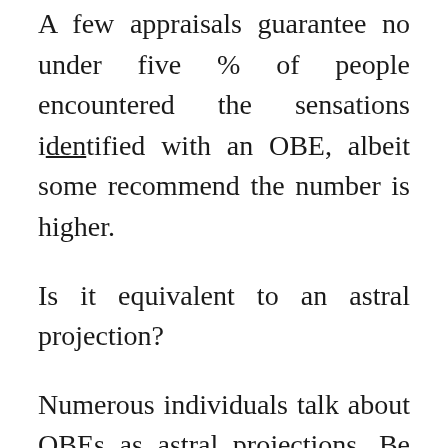A few appraisals guarantee no under five % of people encountered the sensations identified with an OBE, albeit some recommend the number is higher.
Is it equivalent to an astral projection?
Numerous individuals talk about OBEs as astral projections. Be that as it may, there are a few critical contrasts between the 2.
For the most part, an astral projection involves a deliberate exertion to post the cognizance from yours from your body of yours. It commonly portrays your insight